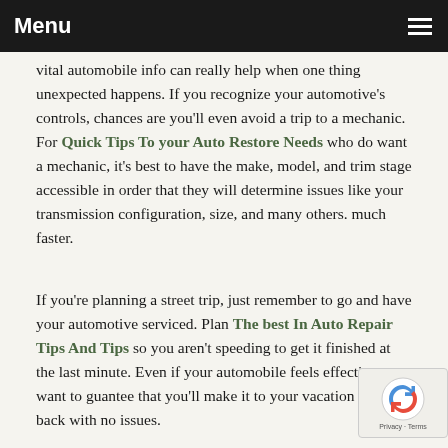Menu
vital automobile info can really help when one thing unexpected happens. If you recognize your automotive's controls, chances are you'll even avoid a trip to a mechanic. For Quick Tips To your Auto Restore Needs who do want a mechanic, it's best to have the make, model, and trim stage accessible in order that they will determine issues like your transmission configuration, size, and many others. much faster.
If you're planning a street trip, just remember to go and have your automotive serviced. Plan The best In Auto Repair Tips And Tips so you aren't speeding to get it finished at the last minute. Even if your automobile feels effective, you want to guantee that you'll make it to your vacation spot and back with no issues.